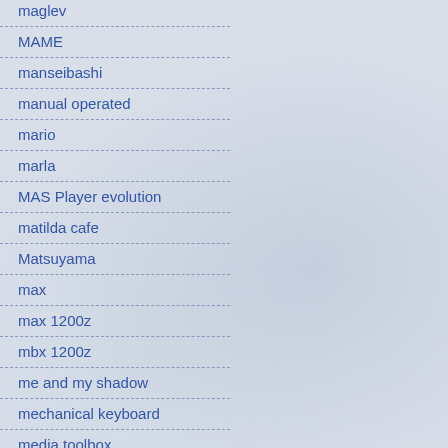maglev
MAME
manseibashi
manual operated
mario
marla
MAS Player evolution
matilda cafe
Matsuyama
max
max 1200z
mbx 1200z
me and my shadow
mechanical keyboard
media toolbox
mediator
meeting
mega 65